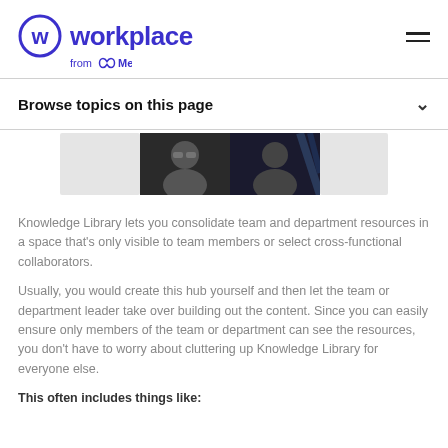Workplace from Meta
Browse topics on this page
[Figure (screenshot): Video call screenshot showing two participants: a woman on the left against an office background, and a man on the right in a video conference setting. Gray placeholder panels on both sides.]
Knowledge Library lets you consolidate team and department resources in a space that's only visible to team members or select cross-functional collaborators.
Usually, you would create this hub yourself and then let the team or department leader take over building out the content. Since you can easily ensure only members of the team or department can see the resources, you don't have to worry about cluttering up Knowledge Library for everyone else.
This often includes things like: